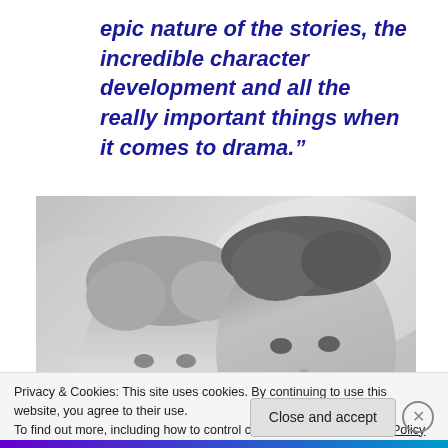epic nature of the stories, the incredible character development and all the really important things when it comes to drama.”
[Figure (photo): Black and white photo of two men looking at the camera. The man on the left has lighter, shorter hair; the man on the right has darker hair and stubble.]
Privacy & Cookies: This site uses cookies. By continuing to use this website, you agree to their use.
To find out more, including how to control cookies, see here: Cookie Policy
Close and accept